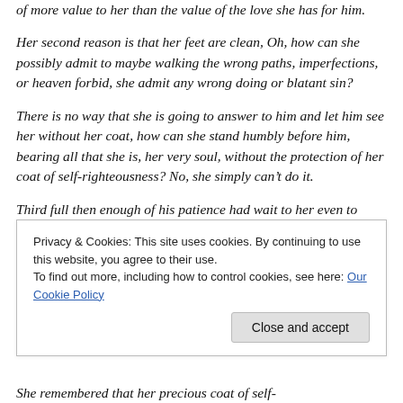of more value to her than the value of the love she has for him.
Her second reason is that her feet are clean, Oh, how can she possibly admit to maybe walking the wrong paths, imperfections, or heaven forbid, she admit any wrong doing or blatant sin?
There is no way that she is going to answer to him and let him see her without her coat, how can she stand humbly before him, bearing all that she is, her very soul, without the protection of her coat of self-righteousness? No, she simply can't do it.
Third full then enough of his patience had wait to her even to
[Figure (other): Cookie consent banner overlay. Text: 'Privacy & Cookies: This site uses cookies. By continuing to use this website, you agree to their use. To find out more, including how to control cookies, see here: Our Cookie Policy'. Button: 'Close and accept'.]
She remembered that her precious coat of self-